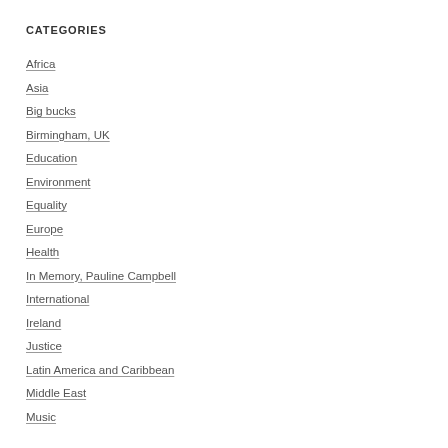CATEGORIES
Africa
Asia
Big bucks
Birmingham, UK
Education
Environment
Equality
Europe
Health
In Memory, Pauline Campbell
International
Ireland
Justice
Latin America and Caribbean
Middle East
Music